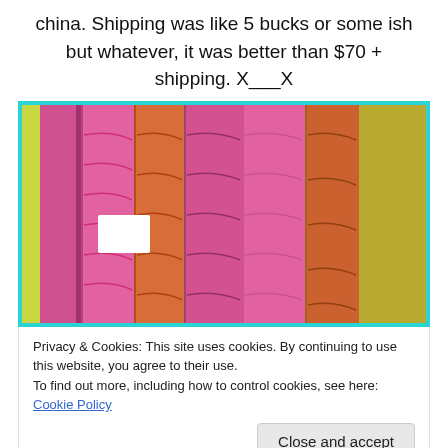china. Shipping was like 5 bucks or some ish but whatever, it was better than $70 + shipping. X___X
[Figure (photo): Photo of multiple bolts of fabric in pink, magenta, orange, and yellow-green colors, wrapped in plastic, hanging or stacked together. Teal/cyan decorative border around the image.]
Privacy & Cookies: This site uses cookies. By continuing to use this website, you agree to their use.
To find out more, including how to control cookies, see here: Cookie Policy
Close and accept
[Figure (photo): Bottom strip of colorful folded fabric in orange, pink, and magenta tones, with teal border.]